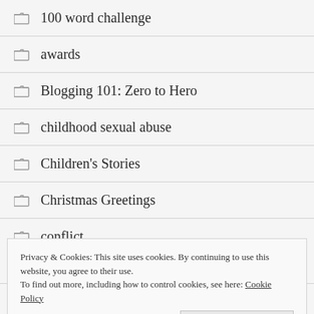100 word challenge
awards
Blogging 101: Zero to Hero
childhood sexual abuse
Children's Stories
Christmas Greetings
conflict
Privacy & Cookies: This site uses cookies. By continuing to use this website, you agree to their use. To find out more, including how to control cookies, see here: Cookie Policy
Discover prompts, Song, fiction